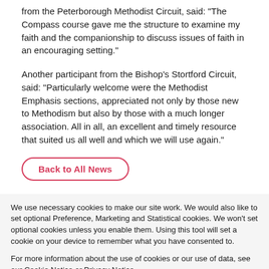from the Peterborough Methodist Circuit, said: "The Compass course gave me the structure to examine my faith and the companionship to discuss issues of faith in an encouraging setting."
Another participant from the Bishop's Stortford Circuit, said: "Particularly welcome were the Methodist Emphasis sections, appreciated not only by those new to Methodism but also by those with a much longer association. All in all, an excellent and timely resource that suited us all well and which we will use again."
Back to All News
We use necessary cookies to make our site work. We would also like to set optional Preference, Marketing and Statistical cookies. We won’t set optional cookies unless you enable them. Using this tool will set a cookie on your device to remember what you have consented to.
For more information about the use of cookies or our use of data, see our Cookie Notice or Privacy Notice.